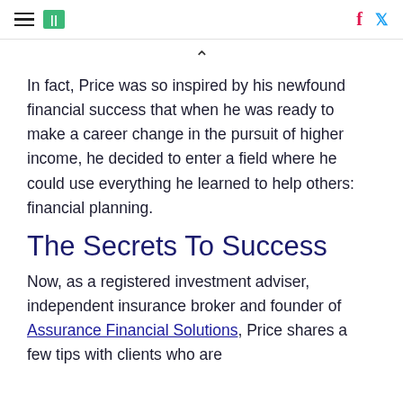HuffPost navigation and social icons
In fact, Price was so inspired by his newfound financial success that when he was ready to make a career change in the pursuit of higher income, he decided to enter a field where he could use everything he learned to help others: financial planning.
The Secrets To Success
Now, as a registered investment adviser, independent insurance broker and founder of Assurance Financial Solutions, Price shares a few tips with clients who are looking to change their own finances.